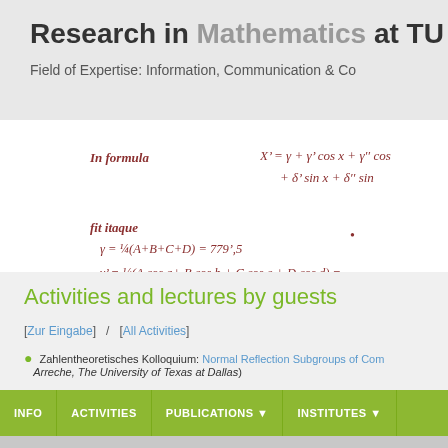Research in Mathematics at TU Gr
Field of Expertise: Information, Communication & Co
INFO  ACTIVITIES  PUBLICATIONS  INSTITUTES
Activities and lectures by guests
[Zur Eingabe]  /  [All Activities]
Zahlentheoretisches Kolloquium: Normal Reflection Subgroups of Com... Arreche, The University of Texas at Dallas)